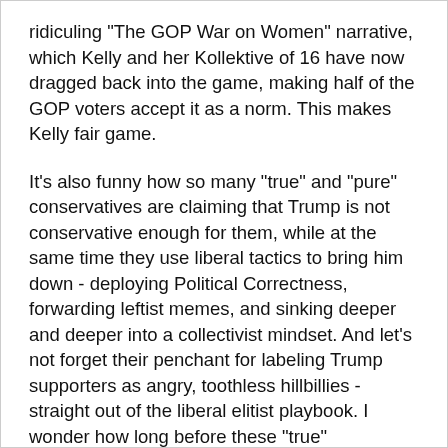ridiculing "The GOP War on Women" narrative, which Kelly and her Kollektive of 16 have now dragged back into the game, making half of the GOP voters accept it as a norm. This makes Kelly fair game.
It's also funny how so many "true" and "pure" conservatives are claiming that Trump is not conservative enough for them, while at the same time they use liberal tactics to bring him down - deploying Political Correctness, forwarding leftist memes, and sinking deeper and deeper into a collectivist mindset. And let's not forget their penchant for labeling Trump supporters as angry, toothless hillbillies - straight out of the liberal elitist playbook. I wonder how long before these "true" conservatives begin to accuse Trump of being